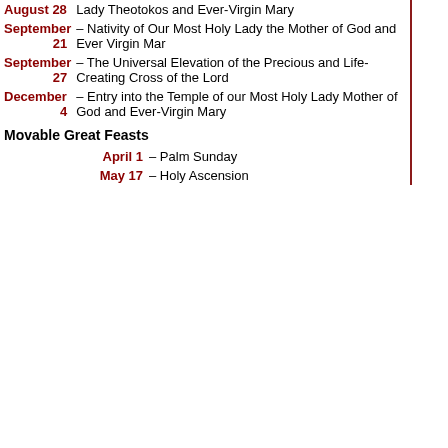| August 28 |  | Lady Theotokos and Ever-Virgin Mary |
| September 21 |  | – Nativity of Our Most Holy Lady the Mother of God and Ever Virgin Mar |
| September 27 |  | – The Universal Elevation of the Precious and Life-Creating Cross of the Lord |
| December 4 |  | – Entry into the Temple of our Most Holy Lady Mother of God and Ever-Virgin Mary |
Movable Great Feasts
| April 1 | – Palm Sunday |
| May 17 | – Holy Ascension |